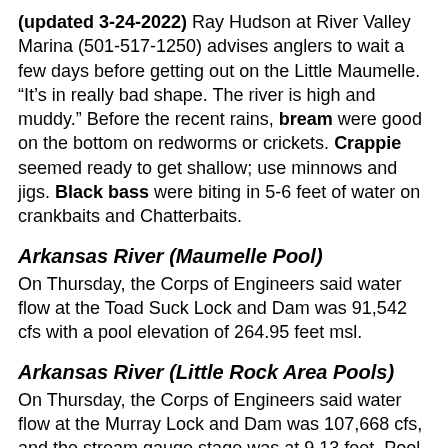(updated 3-24-2022) Ray Hudson at River Valley Marina (501-517-1250) advises anglers to wait a few days before getting out on the Little Maumelle. “It’s in really bad shape. The river is high and muddy.” Before the recent rains, bream were good on the bottom on redworms or crickets. Crappie seemed ready to get shallow; use minnows and jigs. Black bass were biting in 5-6 feet of water on crankbaits and Chatterbaits.
Arkansas River (Maumelle Pool)
On Thursday, the Corps of Engineers said water flow at the Toad Suck Lock and Dam was 91,542 cfs with a pool elevation of 264.95 feet msl.
Arkansas River (Little Rock Area Pools)
On Thursday, the Corps of Engineers said water flow at the Murray Lock and Dam was 107,668 cfs, and the stream gauge stage was at 9.13 feet. Pool elevation is 248.49 feet msl. Flow at the Terry Lock and Dam was 108.007 cfs with a pool elevation of 230.53. A small craft warning was in effect.